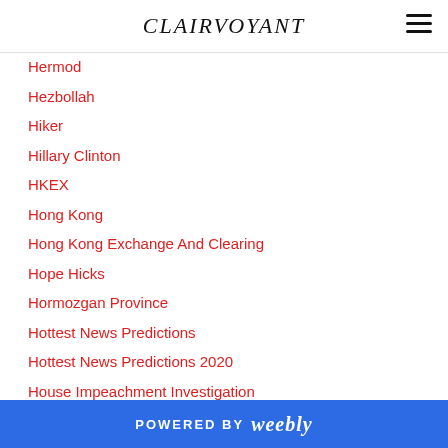CLAIRVOYANT
Hermod
Hezbollah
Hiker
Hillary Clinton
HKEX
Hong Kong
Hong Kong Exchange And Clearing
Hope Hicks
Hormozgan Province
Hottest News Predictions
Hottest News Predictions 2020
House Impeachment Investigation
House Impeachment Investigator
House Impeachment Managers
House Judiciary Chairman
POWERED BY weebly